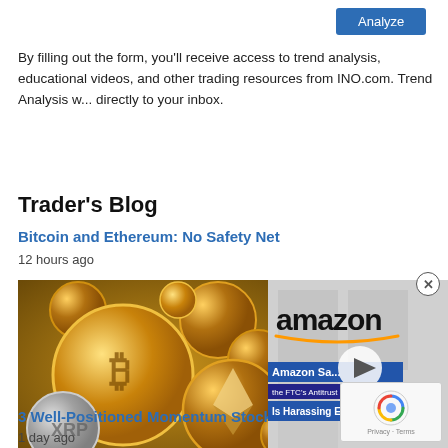[Figure (screenshot): Blue 'Analyze' button]
By filling out the form, you'll receive access to trend analysis, educational videos, and other trading resources from INO.com. Trend Analysis w... directly to your inbox.
Trader's Blog
Bitcoin and Ethereum: No Safety Net
12 hours ago
[Figure (photo): Gold Bitcoin and Ethereum crypto coins stacked together]
[Figure (screenshot): Amazon video overlay with play button and text: Amazon Sa... the FTC's Antitrust Investigation Is Harassing Executives]
[Figure (other): reCAPTCHA widget with Privacy and Terms text]
3 Well-Positioned Momentum Stocks
1 day ago